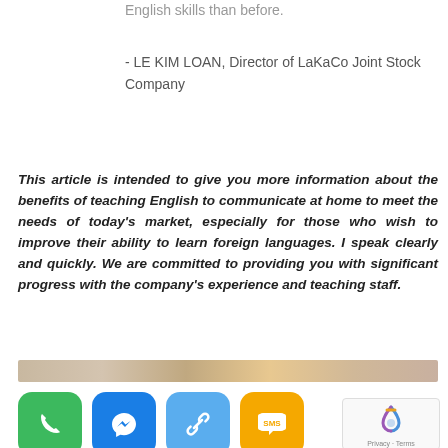English skills than before.
- LE KIM LOAN, Director of LaKaCo Joint Stock Company
This article is intended to give you more information about the benefits of teaching English to communicate at home to meet the needs of today's market, especially for those who wish to improve their ability to learn foreign languages. I speak clearly and quickly. We are committed to providing you with significant progress with the company's experience and teaching staff.
[Figure (photo): Partial photo strip visible at bottom of article section]
[Figure (infographic): Row of 4 contact/action buttons: green phone, blue Messenger, light-blue link/chain, orange SMS]